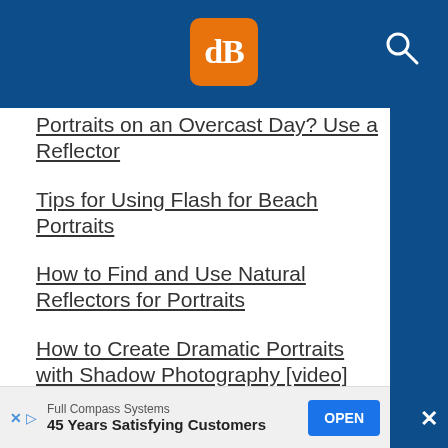[Figure (logo): dPS logo - orange square with white 'dB' serif letters, on dark blue header bar with search icon]
Portraits on an Overcast Day? Use a Reflector
Tips for Using Flash for Beach Portraits
How to Find and Use Natural Reflectors for Portraits
How to Create Dramatic Portraits with Shadow Photography [video]
Tips for Portrait Photography in Overcast Weather [video]
How to Photograph People Outdoors Without Using a Reflector
Full Compass Systems | 45 Years Satisfying Customers | OPEN